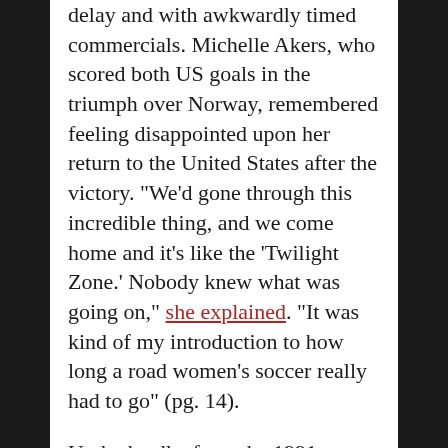delay and with awkwardly timed commercials. Michelle Akers, who scored both US goals in the triumph over Norway, remembered feeling disappointed upon her return to the United States after the victory. "We'd gone through this incredible thing, and we come home and it's like the 'Twilight Zone.' Nobody knew what was going on," she explained. "It was kind of my introduction to how long a road women's soccer really had to go" (pg. 14).
Undoubtedly, from the 1991 Women's World Cup onward, women's soccer has advanced down this long road. Yet, when the USWNT arrives in Vancouver on Sunday for the title match, the team will compete on artificial turf, as it did for the entirety of the tournament. One look at the turf and you get a sense of the